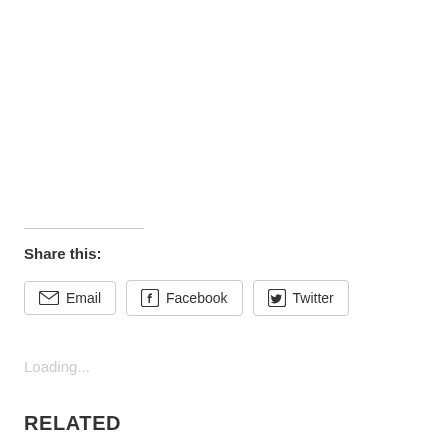Share this:
Email  Facebook  Twitter
Loading...
RELATED